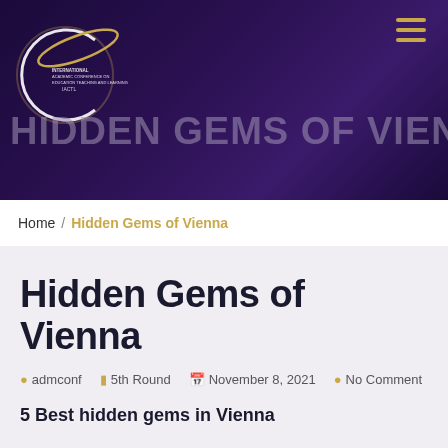[Figure (logo): International Academic Conference on Education Teaching and Learning logo — circular gold and white emblem with orbital ring]
HIDDEN GEMS OF VIENNA
Home / Hidden Gems of Vienna
Hidden Gems of Vienna
admconf   5th Round   November 8, 2021   No Comment
5 Best hidden gems in Vienna